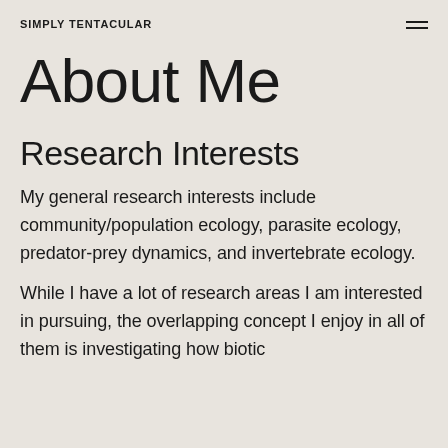SIMPLY TENTACULAR
About Me
Research Interests
My general research interests include community/population ecology, parasite ecology, predator-prey dynamics, and invertebrate ecology.
While I have a lot of research areas I am interested in pursuing, the overlapping concept I enjoy in all of them is investigating how biotic